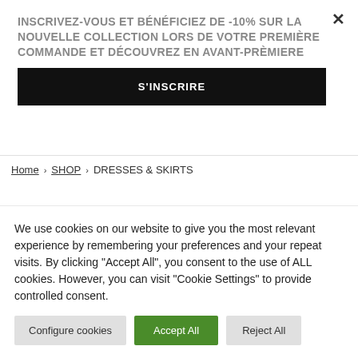INSCRIVEZ-VOUS ET BÉNÉFICIEZ DE -10% SUR LA NOUVELLE COLLECTION LORS DE VOTRE PREMIÈRE COMMANDE ET DÉCOUVREZ EN AVANT-PRÈMIERE
S'INSCRIRE
Home › SHOP › DRESSES & SKIRTS
We use cookies on our website to give you the most relevant experience by remembering your preferences and your repeat visits. By clicking "Accept All", you consent to the use of ALL cookies. However, you can visit "Cookie Settings" to provide controlled consent.
Configure cookies
Accept All
Reject All